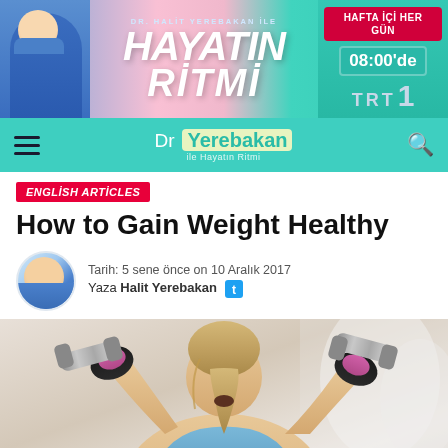[Figure (photo): Banner advertisement for 'Hayatın Ritmi' TV show with Dr. Halit Yerebakan. Shows doctor in blue scrubs, show title in large italic text, 'HAFTA İÇİ HER GÜN 08:00'de TRT 1' on the right side, pink and teal background.]
Dr Yerebakan ile Hayatın Ritmi
ENGLİSH ARTİCLES
How to Gain Weight Healthy
Tarih: 5 sene önce on 10 Aralık 2017
Yaza Halit Yerebakan
[Figure (photo): Woman lifting dumbbells at the gym, viewed from behind, blonde ponytail, wearing workout gloves, raising silver dumbbells overhead.]